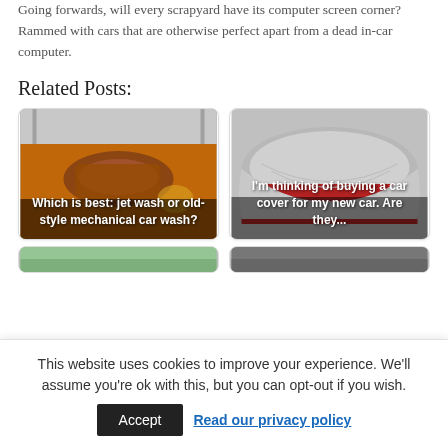Going forwards, will every scrapyard have its computer screen corner? Rammed with cars that are otherwise perfect apart from a dead in-car computer.
Related Posts:
[Figure (photo): Card showing an orange car engine bay under a tent canopy with text overlay: 'Which is best: jet wash or old-style mechanical car wash?']
[Figure (photo): Card showing a red car covered with a grey car cover with text overlay: 'I'm thinking of buying a car cover for my new car. Are they...']
[Figure (photo): Partial card showing a green/outdoor scene (cut off at bottom)]
[Figure (photo): Partial card showing a dark grey scene (cut off at bottom)]
This website uses cookies to improve your experience. We'll assume you're ok with this, but you can opt-out if you wish.
Accept   Read our privacy policy